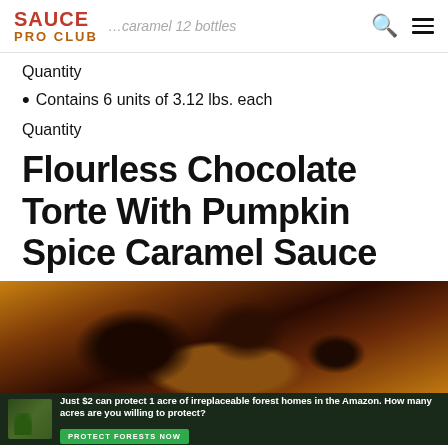SAUCE PRO CLUB
Quantity
Contains 6 units of 3.12 lbs. each
Quantity
Flourless Chocolate Torte With Pumpkin Spice Caramel Sauce
[Figure (photo): Close-up photo of flourless chocolate torte with pumpkin spice caramel sauce drizzled on top]
Just $2 can protect 1 acre of irreplaceable forest homes in the Amazon. How many acres are you willing to protect? PROTECT FORESTS NOW